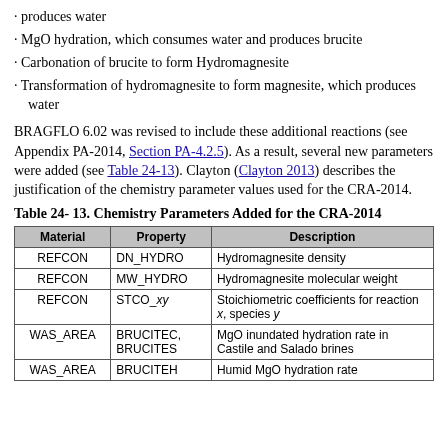· produces water
· MgO hydration, which consumes water and produces brucite
· Carbonation of brucite to form Hydromagnesite
· Transformation of hydromagnesite to form magnesite, which produces water
BRAGFLO 6.02 was revised to include these additional reactions (see Appendix PA-2014, Section PA-4.2.5). As a result, several new parameters were added (see Table 24-13). Clayton (Clayton 2013) describes the justification of the chemistry parameter values used for the CRA-2014.
Table 24- 13. Chemistry Parameters Added for the CRA-2014
| Material | Property | Description |
| --- | --- | --- |
| REFCON | DN_HYDRO | Hydromagnesite density |
| REFCON | MW_HYDRO | Hydromagnesite molecular weight |
| REFCON | STCO_xy | Stoichiometric coefficients for reaction x, species y |
| WAS_AREA | BRUCITEC, BRUCITES | MgO inundated hydration rate in Castile and Salado brines |
| WAS_AREA | BRUCITEH | Humid MgO hydration rate |